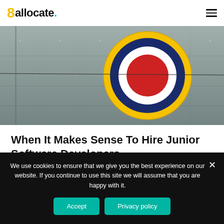8allocate.
[Figure (photo): Close-up photo of an aircraft fuselage with a RAF-style roundel (concentric circles in yellow, dark blue, white, and red) against metallic riveted panels]
When It Makes Sense To Hire Junior Software Developers
We use cookies to ensure that we give you the best experience on our website. If you continue to use this site we will assume that you are happy with it.
Accept | Privacy policy